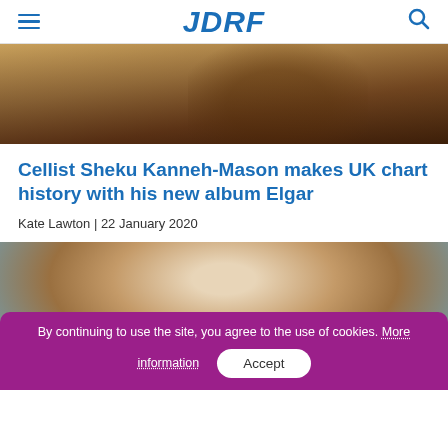JDRF
[Figure (photo): Partial view of a person holding a cello, warm brown tones, music stand visible]
Cellist Sheku Kanneh-Mason makes UK chart history with his new album Elgar
Kate Lawton | 22 January 2020
[Figure (photo): Close-up of a smiling person wearing clear-framed glasses, blue sky background]
By continuing to use the site, you agree to the use of cookies. More information Accept